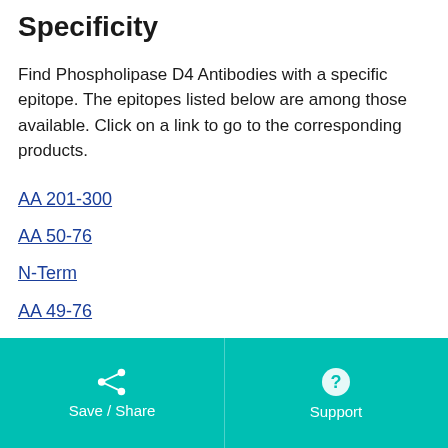Specificity
Find Phospholipase D4 Antibodies with a specific epitope. The epitopes listed below are among those available. Click on a link to go to the corresponding products.
AA 201-300
AA 50-76
N-Term
AA 49-76
AA 52-506
C-Term
AA 1-489
Save / Share    Support